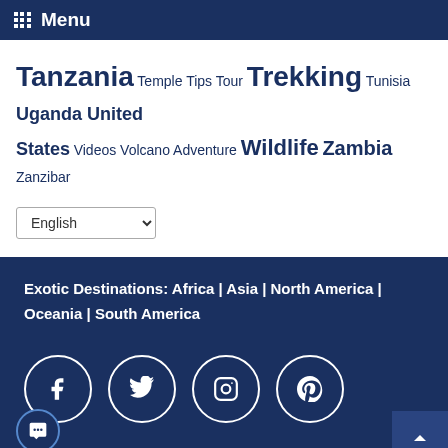Menu
Tanzania Temple Tips Tour Trekking Tunisia Uganda United States Videos Volcano Adventure Wildlife Zambia Zanzibar
English
Exotic Destinations: Africa | Asia | North America | Oceania | South America
[Figure (infographic): Social media icons: Facebook, Twitter, Instagram, Pinterest — white circles with icons on dark blue background]